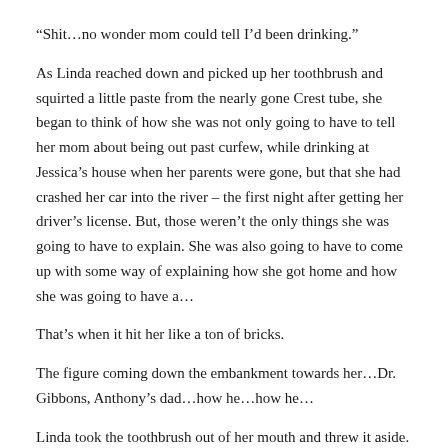“Shit…no wonder mom could tell I’d been drinking.”
As Linda reached down and picked up her toothbrush and squirted a little paste from the nearly gone Crest tube, she began to think of how she was not only going to have to tell her mom about being out past curfew, while drinking at Jessica’s house when her parents were gone, but that she had crashed her car into the river – the first night after getting her driver’s license. But, those weren’t the only things she was going to have to explain. She was also going to have to come up with some way of explaining how she got home and how she was going to have a…
That’s when it hit her like a ton of bricks.
The figure coming down the embankment towards her…Dr. Gibbons, Anthony’s dad…how he…how he…
Linda took the toothbrush out of her mouth and threw it aside. She then spit a white frothy concoction out of her mouth, into the sink and quickly looked back into the mirror as she raised her shirt.